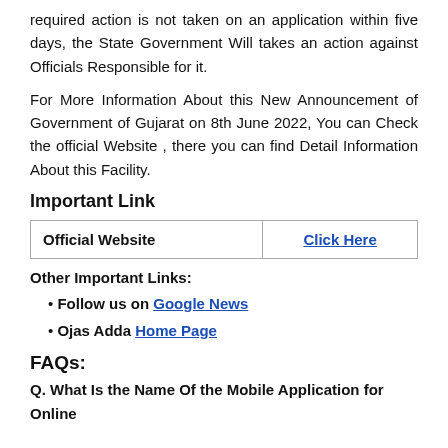required action is not taken on an application within five days, the State Government Will takes an action against Officials Responsible for it.
For More Information About this New Announcement of Government of Gujarat on 8th June 2022, You can Check the official Website , there you can find Detail Information About this Facility.
Important Link
| Official Website | Click Here |
| --- | --- |
Other Important Links:
Follow us on Google News
Ojas Adda Home Page
FAQs:
Q. What Is the Name Of the Mobile Application for Online